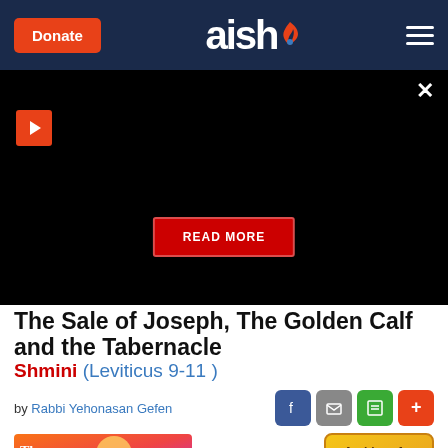Donate | aish | (menu)
[Figure (screenshot): Black video player area with red play button in upper left, close X in upper right, and red READ MORE button in center]
The Sale of Joseph, The Golden Calf and the Tabernacle
Shmini (Leviticus 9-11)
by Rabbi Yehonasan Gefen
[Figure (photo): The Guiding Light book cover image with orange and red flames background and Hebrew letters]
Archives for this series